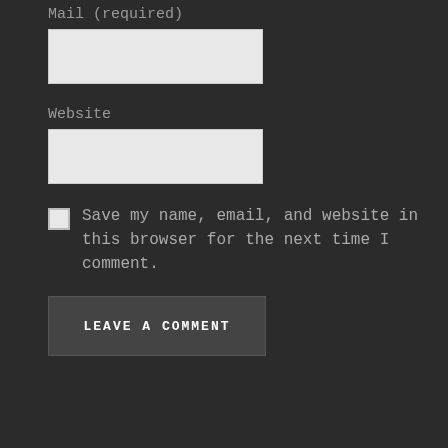Mail (required)
[Figure (other): Empty text input box for mail field]
Website
[Figure (other): Empty text input box for website field]
Save my name, email, and website in this browser for the next time I comment.
LEAVE A COMMENT